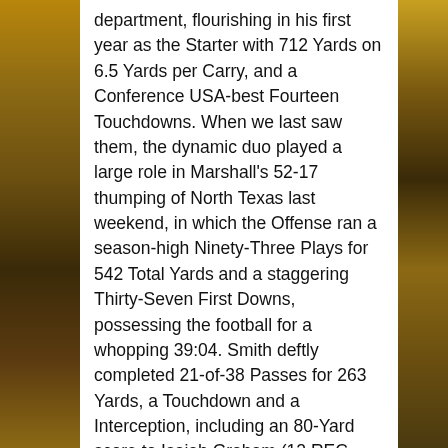department, flourishing in his first year as the Starter with 712 Yards on 6.5 Yards per Carry, and a Conference USA-best Fourteen Touchdowns. When we last saw them, the dynamic duo played a large role in Marshall's 52-17 thumping of North Texas last weekend, in which the Offense ran a season-high Ninety-Three Plays for 542 Total Yards and a staggering Thirty-Seven First Downs, possessing the football for a whopping 39:04. Smith deftly completed 21-of-38 Passes for 263 Yards, a Touchdown and a Interception, including an 80-Yard score to Isaiah Graham (12 REC, 263 YDS, 21.9 Y/R, 2 TD), while rushing for another Forty-Four yards on Sixteen Attempts. Henderson rushed for Fifty-Eight Yards and Two Touchdowns on Fifteen carries, while four other Bulldogs racked up at least Forty Yards on the ground. Junior Receiver, Adrian Hardy (39 REC, 482 YDS, 12.4 Y/R, 1 TD), added Nine Receptions for 104 Yards in the Passing Game. Defensively, Holtz's troops really got after the Mean Green, relegating them to just 342 Total Yards on Sixteen First Downs, and a dismal 2-of-11 on Third Down, while forcing Four Turnovers, two Fumbles and Interceptions